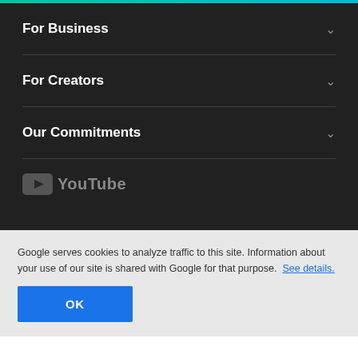For Business
For Creators
Our Commitments
[Figure (logo): YouTube logo in dark gray on dark background]
Google serves cookies to analyze traffic to this site. Information about your use of our site is shared with Google for that purpose. See details.
OK